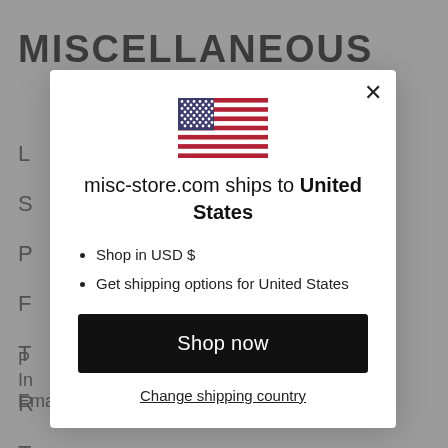MISCELLANEOUS
[Figure (illustration): US flag emoji/icon centered in modal]
misc-store.com ships to United States
Shop in USD $
Get shipping options for United States
Shop now
Change shipping country